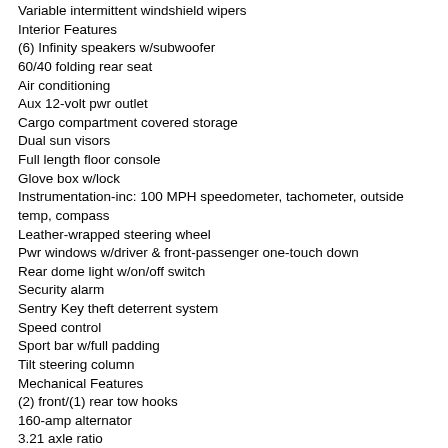Variable intermittent windshield wipers
Interior Features
(6) Infinity speakers w/subwoofer
60/40 folding rear seat
Air conditioning
Aux 12-volt pwr outlet
Cargo compartment covered storage
Dual sun visors
Full length floor console
Glove box w/lock
Instrumentation-inc: 100 MPH speedometer, tachometer, outside temp, compass
Leather-wrapped steering wheel
Pwr windows w/driver & front-passenger one-touch down
Rear dome light w/on/off switch
Security alarm
Sentry Key theft deterrent system
Speed control
Sport bar w/full padding
Tilt steering column
Mechanical Features
(2) front/(1) rear tow hooks
160-amp alternator
3.21 axle ratio
3.8L OHV 12-valve SMPI V6 engine
4-wheel disc brakes w/hydraulic assist brake boost
600-CCA maintenance free battery
Command-Trac shift-on-the-fly 4WD system
Front/rear stabilizer bars